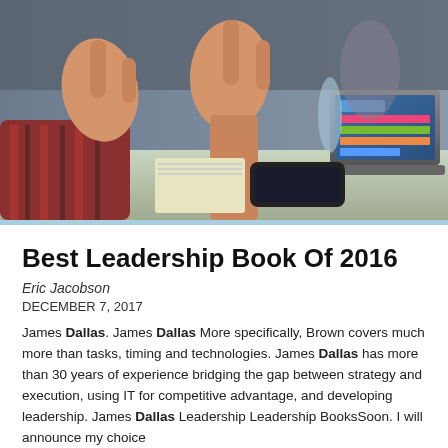[Figure (photo): Two people at a table, one gesturing with both hands raised, a laptop visible in the background on a desk.]
Best Leadership Book Of 2016
Eric Jacobson
DECEMBER 7, 2017
James Dallas. James Dallas More specifically, Brown covers much more than tasks, timing and technologies. James Dallas has more than 30 years of experience bridging the gap between strategy and execution, using IT for competitive advantage, and developing leadership. James Dallas Leadership Leadership BooksSoon. I will announce my choice